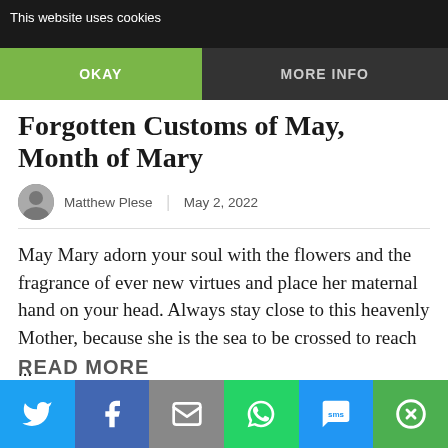This website uses cookies
OKAY | MORE INFO
Forgotten Customs of May, Month of Mary
Matthew Plese | May 2, 2022
May Mary adorn your soul with the flowers and the fragrance of ever new virtues and place her maternal hand on your head. Always stay close to this heavenly Mother, because she is the sea to be crossed to reach ...
READ MORE